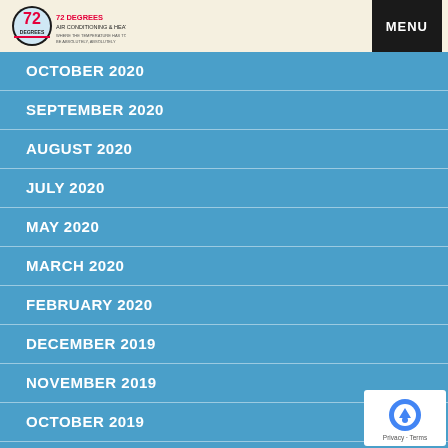72 Degrees Air Conditioning & Heating | MENU
OCTOBER 2020
SEPTEMBER 2020
AUGUST 2020
JULY 2020
MAY 2020
MARCH 2020
FEBRUARY 2020
DECEMBER 2019
NOVEMBER 2019
OCTOBER 2019
SEPTEMBER 2019